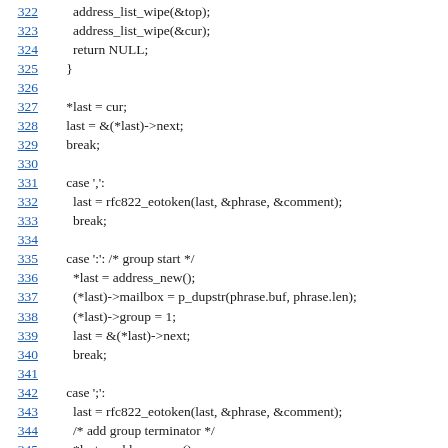Code listing lines 322-346 showing C source code for address/RFC822 parsing
322    address_list_wipe(&top);
323    address_list_wipe(&cur);
324    return NULL;
325  }
326
327  *last = cur;
328  last = &(*last)->next;
329  break;
330
331  case ',':
332    last = rfc822_eotoken(last, &phrase, &comment);
333    break;
334
335  case ':': /* group start */
336    *last = address_new();
337    (*last)->mailbox = p_dupstr(phrase.buf, phrase.len);
338    (*last)->group = 1;
339    last = &(*last)->next;
340    break;
341
342  case ';':
343    last = rfc822_eotoken(last, &phrase, &comment);
344    /* add group terminator */
345    *last = address_new();
346    last = &(*last)->next;